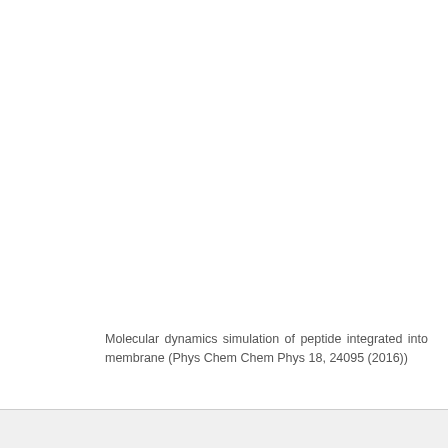Molecular dynamics simulation of peptide integrated into membrane (Phys Chem Chem Phys 18, 24095 (2016))